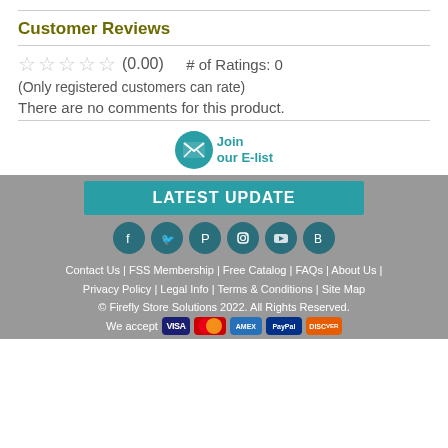Customer Reviews
☆☆☆☆☆ (0.00)  # of Ratings: 0
(Only registered customers can rate)
There are no comments for this product.
[Figure (infographic): Join our E-list email signup button with teal envelope icon]
[Figure (infographic): LATEST UPDATE teal button, social media icons (Facebook, Twitter, Pinterest, Instagram, YouTube, Blogger), footer navigation links, copyright, and payment method icons]
Contact Us | FSS Membership | Free Catalog | FAQs | About Us | Privacy Policy | Legal Info | Terms & Conditions | Site Map
© Firefly Store Solutions 2022. All Rights Reserved.
We accept [VISA] [MC] [AMEX] [PayPal] [Discover]